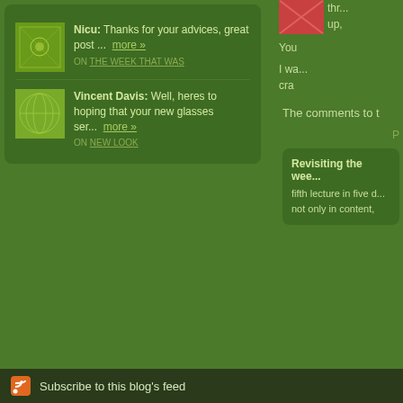Nicu: Thanks for your advices, great post ... more »
ON THE WEEK THAT WAS
Vincent Davis: Well, heres to hoping that your new glasses ser... more »
ON NEW LOOK
thr... up,
You
I wa... cra
The comments to t
P
Revisiting the wee... fifth lecture in five d... not only in content,
Subscribe to this blog's feed